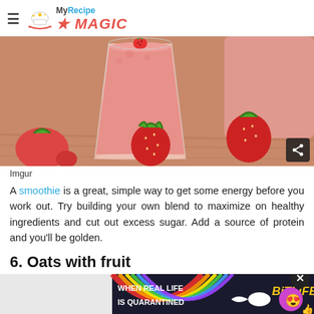My Recipe MAGIC
[Figure (photo): Strawberry smoothie in a glass with fresh strawberries on a wooden surface]
Imgur
A smoothie is a great, simple way to get some energy before you work out. Try building your own blend to maximize on healthy ingredients and cut out excess sugar. Add a source of protein and you'll be golden.
6. Oats with fruit
[Figure (screenshot): BitLife advertisement banner: WHEN REAL LIFE IS QUARANTINED with BitLife logo and emoji characters]